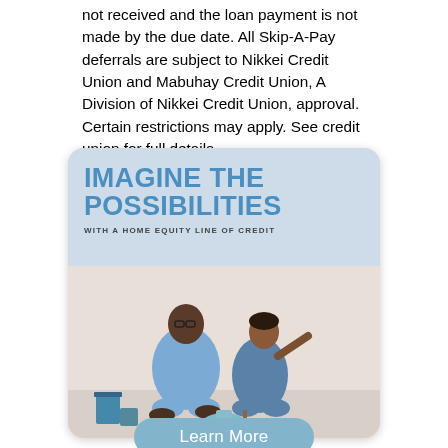not received and the loan payment is not made by the due date. All Skip-A-Pay deferrals are subject to Nikkei Credit Union and Mabuhay Credit Union, A Division of Nikkei Credit Union, approval. Certain restrictions may apply. See credit union for full details.
[Figure (illustration): Advertisement card with rounded corners. Top section has blue text 'IMAGINE THE POSSIBILITIES' in bold uppercase, with subtitle 'WITH A HOME EQUITY LINE OF CREDIT'. Bottom section shows a photo of two people sitting on the floor surrounded by paint cans and supplies, smiling. A 'Learn More' button appears at the bottom of the card.]